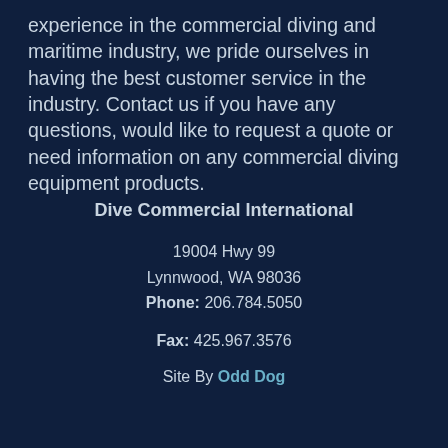experience in the commercial diving and maritime industry, we pride ourselves in having the best customer service in the industry. Contact us if you have any questions, would like to request a quote or need information on any commercial diving equipment products.
Dive Commercial International
19004 Hwy 99
Lynnwood, WA 98036
Phone: 206.784.5050
Fax: 425.967.3576
Site By Odd Dog